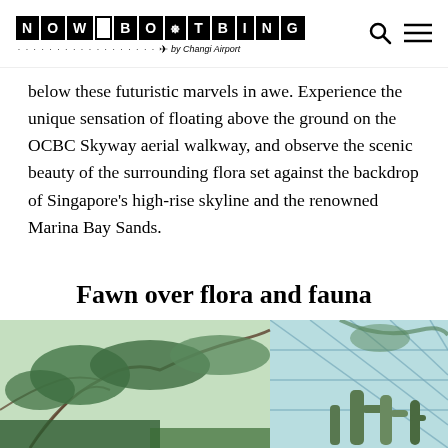NOW BOATBING by Changi Airport
below these futuristic marvels in awe. Experience the unique sensation of floating above the ground on the OCBC Skyway aerial walkway, and observe the scenic beauty of the surrounding flora set against the backdrop of Singapore's high-rise skyline and the renowned Marina Bay Sands.
Fawn over flora and fauna
[Figure (photo): Indoor botanical dome with tropical trees, cacti, and a glass-grid domed ceiling, showing lush green plants inside a conservatory]